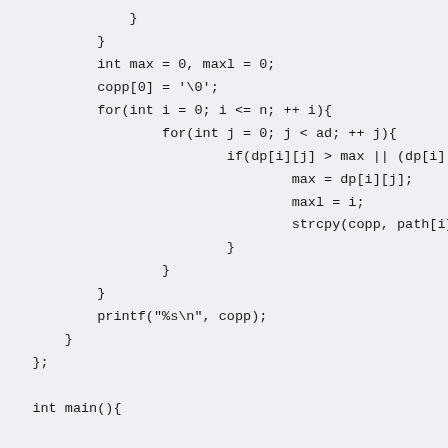}
        }
        int max = 0, maxl = 0;
        copp[0] = '\0';
        for(int i = 0; i <= n; ++ i){
                for(int j = 0; j < ad; ++ j){
                        if(dp[i][j] > max || (dp[i][j] == m
                                max = dp[i][j];
                                maxl = i;
                                strcpy(copp, path[i][j]);
                        }
                }
        }
        printf("%s\n", copp);
    }
};

    int main(){